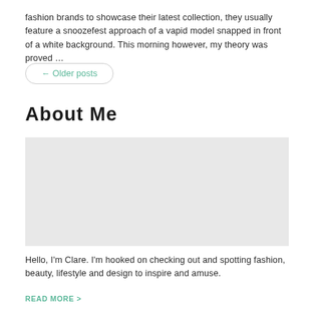fashion brands to showcase their latest collection, they usually feature a snoozefest approach of a vapid model snapped in front of a white background. This morning however, my theory was proved …
← Older posts
About Me
[Figure (photo): Photo placeholder for About Me section]
Hello, I'm Clare. I'm hooked on checking out and spotting fashion, beauty, lifestyle and design to inspire and amuse.
READ MORE >